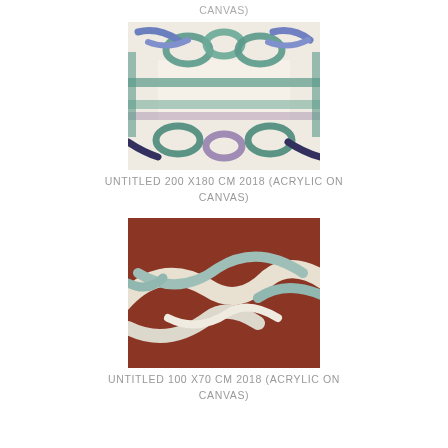CANVAS)
[Figure (photo): Painting of colorful ribbon-like loops arranged in a decorative border pattern around a light beige center, with blue, teal, purple, and dark tones on a cream background.]
UNTITLED 200 X180 CM 2018 (ACRYLIC ON CANVAS)
[Figure (photo): Painting of white and light teal ribbon-like curving forms on a dark reddish-brown background.]
UNTITLED 100 X70 CM 2018 (ACRYLIC ON CANVAS)